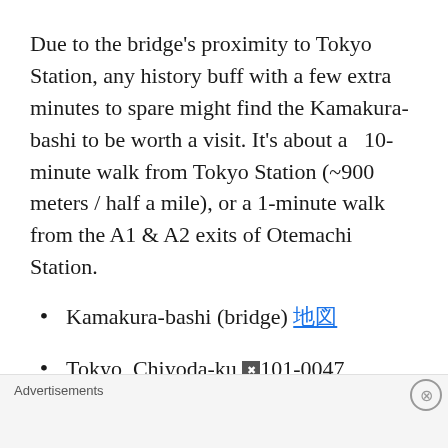Due to the bridge's proximity to Tokyo Station, any history buff with a few extra minutes to spare might find the Kamakura-bashi to be worth a visit. It's about a  10-minute walk from Tokyo Station (~900 meters / half a mile), or a 1-minute walk from the A1 & A2 exits of Otemachi Station.
Kamakura-bashi (bridge) [link: map icon]
Tokyo, Chiyoda-ku ✖101-0047, between Uchikanda 1-chome and Ōtemachi
Advertisements